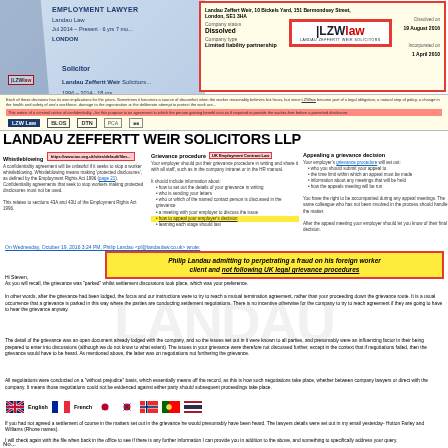[Figure (screenshot): LinkedIn profile snippet showing Employment Lawyer at Landau Law and LZW logo for Landau Zeffertt Weir Solicitors]
[Figure (screenshot): LZWlaw company info box: Landau Zeffert Weir, 10 Bickels Yard, 151 Bermondsey Street, London, SE1 3HA. Company status: Dissolved. Company type: Limited liability partnership. Dissolved on 19 August 2016. Incorporated on 1 April 2010.]
[Figure (screenshot): Notice bar with confidentiality and legal disclaimer text, and logos bar with LZW Law, BLOS, DTN and other logos]
LANDAU ZEFFERTT WEIR SOLICITORS LLP
Whistleblowing
A confidentiality agreement will be unlawful if it seeks to stop a worker whistleblowing. Whistleblowing means making 'protected disclosures' as defined by the Employment Rights Act 1996 (page 21). Confidentiality agreements that seek to stop workers making protected disclosures must not be used. This relates to sections 43A and 43U of the Employment Rights Act 1996.
Grievance procedure
Your employer should put their grievance procedure in writing and share it with all staff, such as in the company intranet or in the HR manual. It should include information about: how to set out the details of your grievance in writing; who is sending your letters; who or which of the named contact person is described in the grievance; a meeting with your employer to discuss the issue; how to appeal your employer's decision; learning each stage should last.
Appealing a grievance decision
Your employer's grievance procedure will set out: who you should submit your appeal to; the time limit within which an appeal must be made; information about any meetings that will be held; how the appeals meeting will be run. You have the right to be accompanied during any appeal meetings. The same colleague who has not been involved in the process should handle the matter. After the appeal meeting your employer should let you know of their final decision.
On Wednesday, October 19, 2016 3:24 PM, Philip Landau <pl@landaulaw.co.uk> wrote:
Philip Landau admitting to perpetrating a fraud on his foreign worker client and not following UK legal grievance procedures
Hi Steven,
As you will recall, the grievance was "parked" whilst settlement discussions took place, which was your preference.
In other words, after the grievance had been lodged, the focus and our instructions were to try to reach a mutual termination agreement, rather than your proceeding down the grievance route. It is a usual occurrence that a grievance is parked in this way where the parties are conducting settlement negotiations. There is no incentive otherwise for the company to try to reach agreement if they are going to have to hear the grievance anyway.
The detail of the grievance was an open document already lodged with the company, and so the issues set out in it were known to all parties, and presumably were an influencing factor in their being prepared to enter into discussions (although we do not know to what extent). The issues in your grievance were therefore not discussed further, except in the context that if negotiations failed, then the grievance would have to be heard. As mentioned above, the latter was on negotiations not furthering the grievance.
All negotiations were conducted on a "without prejudice" basis, which essentially means off the record, as this is how such negotiations take place, whether between company lawyers or direct with the company. It means those negotiations could not be evidenced against either party should subsequent proceedings take place.
If you had not agreed a settlement of course in the matters set out in the grievance he would presumably have been heard. The lawyers details were set out in my email yesterday- Hutton Farley and Williams (Rhone names).
I will check again with the file when back in the office to see if there is any further information I can provide you in addition to the above, and something to specifically address your query.
Kind regards,
[Figure (infographic): Flag icons for multiple countries: UK (English), France (French), Japan, South Korea, Norway, Portugal, Thailand with language labels]